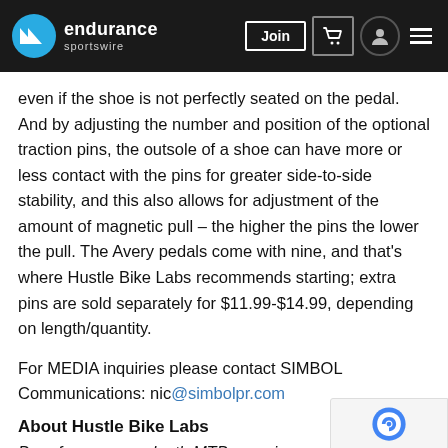endurance sportswire
even if the shoe is not perfectly seated on the pedal. And by adjusting the number and position of the optional traction pins, the outsole of a shoe can have more or less contact with the pins for greater side-to-side stability, and this also allows for adjustment of the amount of magnetic pull – the higher the pins the lower the pull. The Avery pedals come with nine, and that's where Hustle Bike Labs recommends starting; extra pins are sold separately for $11.99-$14.99, depending on length/quantity.
For MEDIA inquiries please contact SIMBOL Communications: nic@simbolpr.com
About Hustle Bike Labs
Born from a near-death MTB experience, with th…